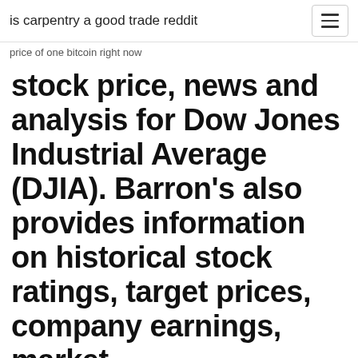is carpentry a good trade reddit
price of one bitcoin right now
stock price, news and analysis for Dow Jones Industrial Average (DJIA). Barron's also provides information on historical stock ratings, target prices, company earnings, market
Dow Jones Industrial Average (^DJI) Historical Data … 102 rows · Get historical data for the Dow Jones Industrial Average (^DJI) on Yahoo Finance. View and … Dow Jones Price Outlook: Boeing to Undermine Index Further … The Dow Jones may lag the S&P 500 and Nasdaq 100 as one of its main components falls under immense pressure. Consequently, the DJIA has broken